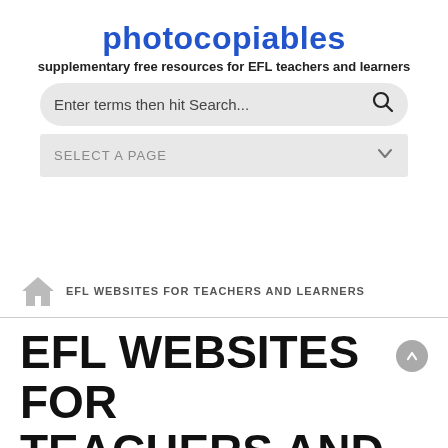photocopiables
supplementary free resources for EFL teachers and learners
[Figure (screenshot): Search bar with placeholder text 'Enter terms then hit Search...' and a search icon on the right, styled with rounded corners and light grey background]
[Figure (screenshot): Dropdown selector with text 'SELECT A PAGE' and a chevron/arrow icon on the right, styled with light grey background]
EFL WEBSITES FOR TEACHERS AND LEARNERS
EFL WEBSITES FOR TEACHERS AND